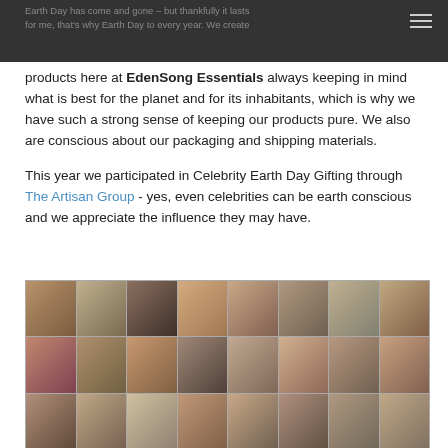Earth Day has come and gone – but thankfully it lasts for me, that's why Earth Day to every year. We create products here at EdenSong Essentials always keeping in mind what is best for the planet and for its inhabitants, which is why we have such a strong sense of keeping our products pure. We also are conscious about our packaging and shipping materials.
products here at EdenSong Essentials always keeping in mind what is best for the planet and for its inhabitants, which is why we have such a strong sense of keeping our products pure. We also are conscious about our packaging and shipping materials.
This year we participated in Celebrity Earth Day Gifting through The Artisan Group - yes, even celebrities can be earth conscious and we appreciate the influence they may have.
[Figure (photo): A collage grid of celebrity headshots, arranged in rows of 8 photos across, showing various well-known celebrities in three visible rows.]